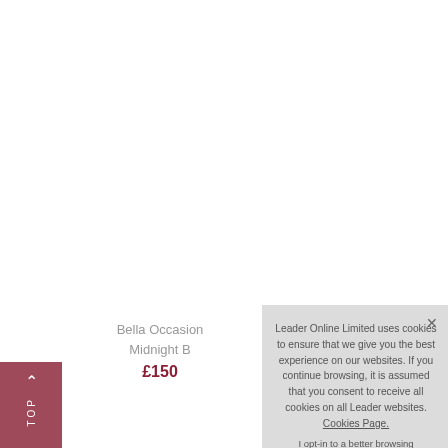Bella Occasion Midnight B
£150
TOP
Leader Online Limited uses cookies to ensure that we give you the best experience on our websites. If you continue browsing, it is assumed that you consent to receive all cookies on all Leader websites. Cookies Page.

I opt-in to a better browsing experience
Accept Cookies